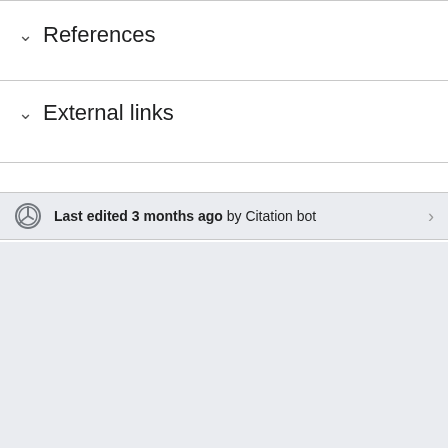References
External links
Last edited 3 months ago by Citation bot